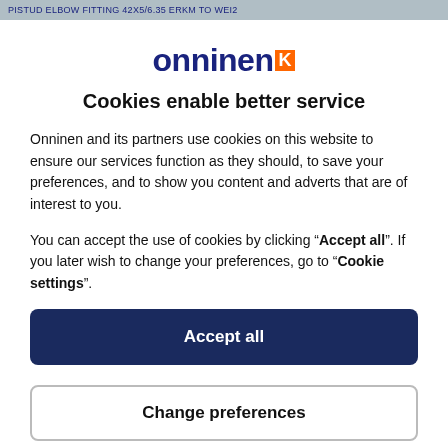PISTUD ELBOW FITTING 42X5/6.35 ERKM TO WEI2
[Figure (logo): Onninen logo with dark blue text and orange K symbol]
Cookies enable better service
Onninen and its partners use cookies on this website to ensure our services function as they should, to save your preferences, and to show you content and adverts that are of interest to you.
You can accept the use of cookies by clicking “Accept all”. If you later wish to change your preferences, go to “Cookie settings”.
Accept all
Change preferences
Use of cookies in Onninen